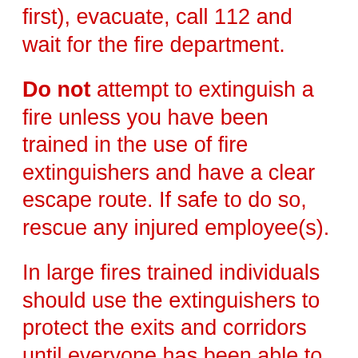...first), evacuate, call 112 and wait for the fire department.
Do not attempt to extinguish a fire unless you have been trained in the use of fire extinguishers and have a clear escape route. If safe to do so, rescue any injured employee(s).
In large fires trained individuals should use the extinguishers to protect the exits and corridors until everyone has been able to escape from the area involving the fire.
If the fire is in a confined area, such as a closet or enclosed office, attempt to close the door to confine the fire and smoke.
Do not open doors until you touch the door